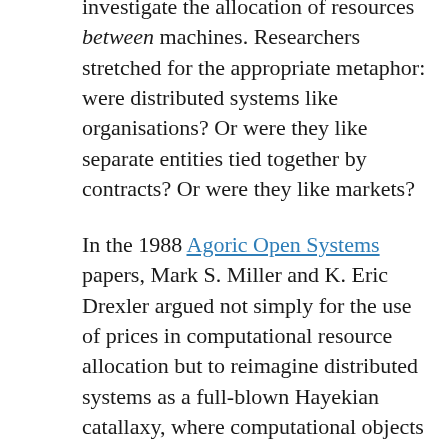investigate the allocation of resources between machines. Researchers stretched for the appropriate metaphor: were distributed systems like organisations? Or were they like separate entities tied together by contracts? Or were they like markets?
In the 1988 Agoric Open Systems papers, Mark S. Miller and K. Eric Drexler argued not simply for the use of prices in computational resource allocation but to reimagine distributed systems as a full-blown Hayekian catallaxy, where computational objects have ‘property rights’ and compensate each other for access to resources. (Full disclosure: I am an advisor to Agoric, Miller’s current project.) As they noted,